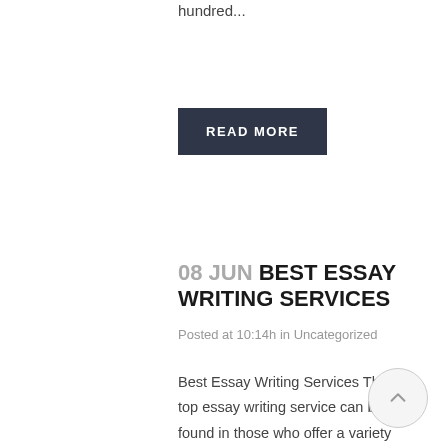hundred...
READ MORE
08 JUN BEST ESSAY WRITING SERVICES
Posted at 10:14h in Uncategorized
Best Essay Writing Services The top essay writing service can be found in those who offer a variety of different services. The variety of options is the key to a great essay writing service. While many people would like to have